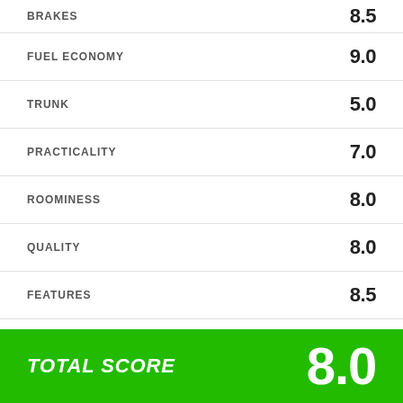BRAKES 8.5
FUEL ECONOMY 9.0
TRUNK 5.0
PRACTICALITY 7.0
ROOMINESS 8.0
QUALITY 8.0
FEATURES 8.5
VALUE 7.0
TOTAL SCORE 8.0